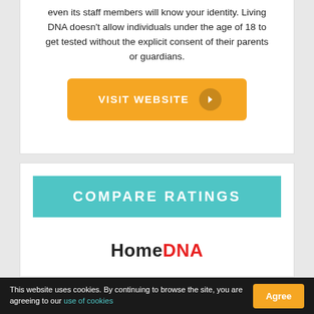even its staff members will know your identity. Living DNA doesn't allow individuals under the age of 18 to get tested without the explicit consent of their parents or guardians.
[Figure (other): Orange 'VISIT WEBSITE' button with arrow icon]
COMPARE RATINGS
[Figure (logo): HomeDNA logo — 'Home' in black bold, 'DNA' in red bold]
This website uses cookies. By continuing to browse the site, you are agreeing to our use of cookies   Agree